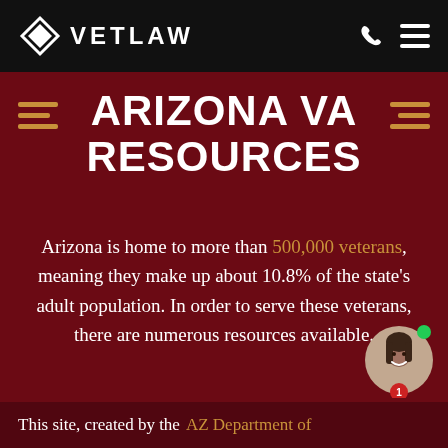VET LAW
ARIZONA VA RESOURCES
Arizona is home to more than 500,000 veterans, meaning they make up about 10.8% of the state's adult population. In order to serve these veterans, there are numerous resources available.
This site, created by the AZ Department of